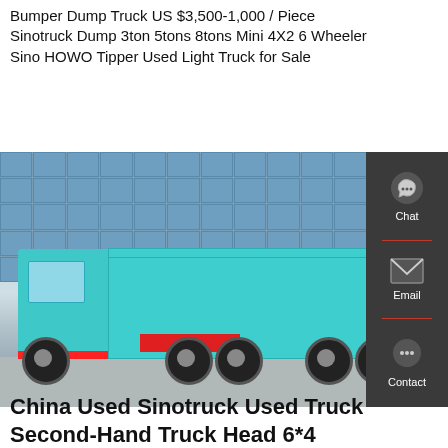Bumper Dump Truck US $3,500-1,000 / Piece Sinotruck Dump 3ton 5tons 8tons Mini 4X2 6 Wheeler Sino HOWO Tipper Used Light Truck for Sale
[Figure (photo): A teal/turquoise Sinotruck HOWO dump truck parked in front of a glass-panel building, side view showing the dump bed, cab, and dual rear wheels.]
China Used Sinotruck Used Truck Second-Hand Truck Head 6*4